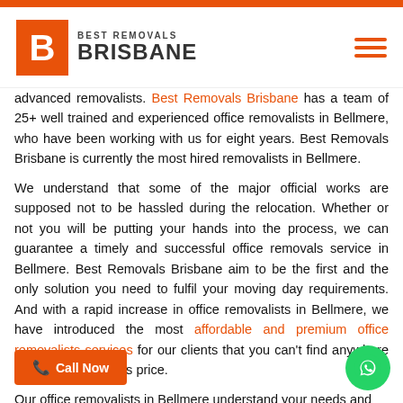[Figure (logo): Best Removals Brisbane logo: orange square with white B letter, next to text 'BEST REMOVALS BRISBANE']
advanced removalists. Best Removals Brisbane has a team of 25+ well trained and experienced office removalists in Bellmere, who have been working with us for eight years. Best Removals Brisbane is currently the most hired removalists in Bellmere.
We understand that some of the major official works are supposed not to be hassled during the relocation. Whether or not you will be putting your hands into the process, we can guarantee a timely and successful office removals service in Bellmere. Best Removals Brisbane aim to be the first and the only solution you need to fulfil your moving day requirements. And with a rapid increase in office removalists in Bellmere, we have introduced the most affordable and premium office removalists services for our clients that you can't find anywhere in the market for this price.
Our office removalists in Bellmere understand your needs and